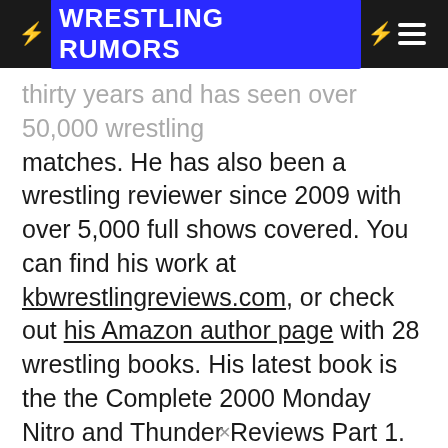⚡ WRESTLING RUMORS ⚡
thirty years and has seen over 50,000 wrestling matches. He has also been a wrestling reviewer since 2009 with over 5,000 full shows covered. You can find his work at kbwrestlingreviews.com, or check out his Amazon author page with 28 wrestling books. His latest book is the the Complete 2000 Monday Nitro and Thunder Reviews Part 1.